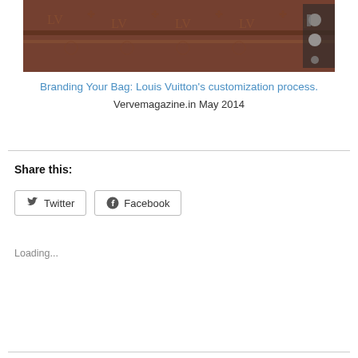[Figure (photo): Close-up photo of a Louis Vuitton monogram bag with brown leather and LV pattern, with other accessories visible]
Branding Your Bag: Louis Vuitton's customization process.
Vervemagazine.in May 2014
Share this:
Twitter
Facebook
Loading...